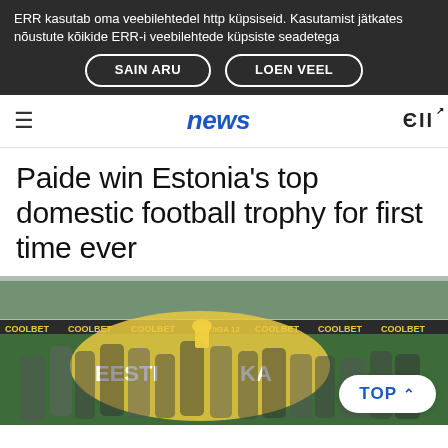ERR kasutab oma veebilehtedel http küpsiseid. Kasutamist jätkates nõustute kõikide ERR-i veebilehtede küpsiste seadetega
SAIN ARU   LOEN VEEL
news  ERR
Paide win Estonia's top domestic football trophy for first time ever
[Figure (photo): Football team celebrating with trophy on pitch, EESTI KA banner visible, stadium seating in background with COOLBET advertising boards, golden trophy being held aloft]